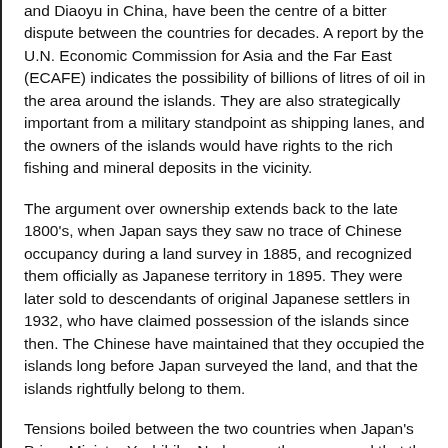and Diaoyu in China, have been the centre of a bitter dispute between the countries for decades. A report by the U.N. Economic Commission for Asia and the Far East (ECAFE) indicates the possibility of billions of litres of oil in the area around the islands. They are also strategically important from a military standpoint as shipping lanes, and the owners of the islands would have rights to the rich fishing and mineral deposits in the vicinity.
The argument over ownership extends back to the late 1800's, when Japan says they saw no trace of Chinese occupancy during a land survey in 1885, and recognized them officially as Japanese territory in 1895. They were later sold to descendants of original Japanese settlers in 1932, who have claimed possession of the islands since then. The Chinese have maintained that they occupied the islands long before Japan surveyed the land, and that the islands rightfully belong to them.
Tensions boiled between the two countries when Japan's Prime Minister Yoshihiko Noda recently announced that the